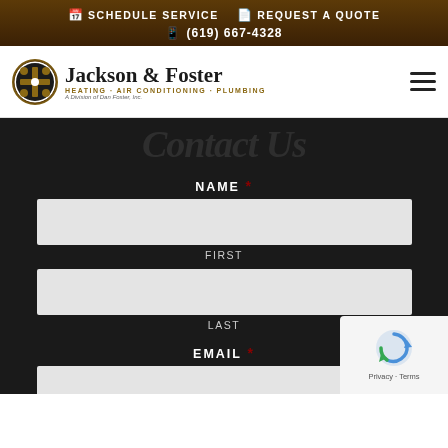SCHEDULE SERVICE  REQUEST A QUOTE  (619) 667-4328
[Figure (logo): Jackson & Foster Heating · Air Conditioning · Plumbing logo with circular emblem. A Division of Dan Foster, Inc.]
Contact Us
NAME * FIRST
LAST
EMAIL *